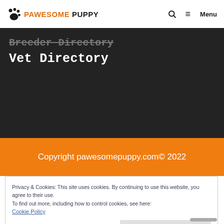PAWESOME PUPPY — Search | Menu
Breeder Directory
Vet Directory
Copyright pawesomepuppy.com© 2022
Privacy & Cookies: This site uses cookies. By continuing to use this website, you agree to their use.
To find out more, including how to control cookies, see here:
Cookie Policy
Close and accept